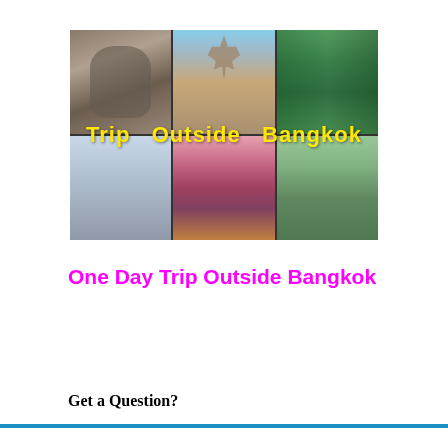[Figure (photo): Collage of Bangkok area travel photos: stone Buddha head entwined in tree roots (Ayutthaya), ancient temple/wat spire, canal with boats and tropical greenery, workers in flooded rice fields, floating market vendor with cherry fruits, green rice paddies with palm trees. Title text 'Trip Outside Bangkok' overlaid in bold yellow.]
One Day Trip Outside Bangkok
Get a Question?